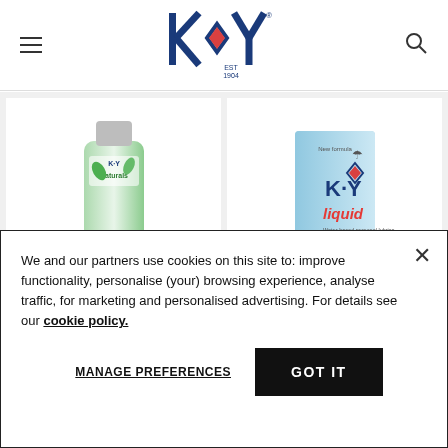[Figure (logo): K-Y brand logo with diamond shape and EST 1904 text in navy blue]
[Figure (photo): Two K-Y product images: K-Y Naturals gentle doux tube (green) and K-Y Liquid smooth box (light blue)]
We and our partners use cookies on this site to: improve functionality, personalise (your) browsing experience, analyse traffic, for marketing and personalised advertising. For details see our cookie policy.
MANAGE PREFERENCES
GOT IT